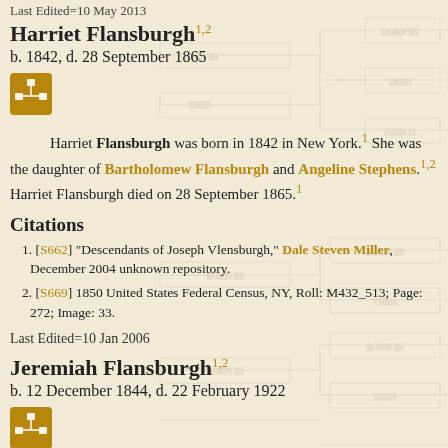Last Edited=10 May 2013
Harriet Flansburgh1,2
b. 1842, d. 28 September 1865
[Figure (other): Genealogy tree icon button (gold/amber square with family tree symbol)]
Harriet Flansburgh was born in 1842 in New York.1 She was the daughter of Bartholomew Flansburgh and Angeline Stephens.1,2 Harriet Flansburgh died on 28 September 1865.1
Citations
[S662] "Descendants of Joseph Vlensburgh," Dale Steven Miller, December 2004 unknown repository.
[S669] 1850 United States Federal Census, NY, Roll: M432_513; Page: 272; Image: 33.
Last Edited=10 Jan 2006
Jeremiah Flansburgh1,2
b. 12 December 1844, d. 22 February 1922
[Figure (other): Genealogy tree icon button (gold/amber square with family tree symbol)]